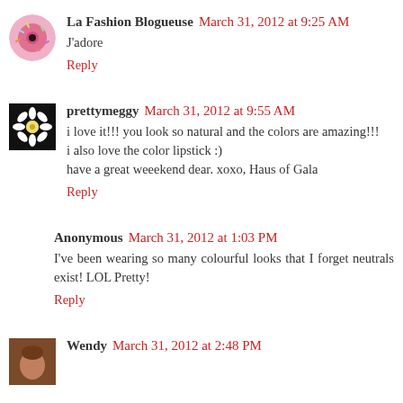La Fashion Blogueuse March 31, 2012 at 9:25 AM
J'adore
Reply
prettymeggy March 31, 2012 at 9:55 AM
i love it!!! you look so natural and the colors are amazing!!! i also love the color lipstick :)
have a great weeekend dear. xoxo, Haus of Gala
Reply
Anonymous March 31, 2012 at 1:03 PM
I've been wearing so many colourful looks that I forget neutrals exist! LOL Pretty!
Reply
Wendy March 31, 2012 at 2:48 PM